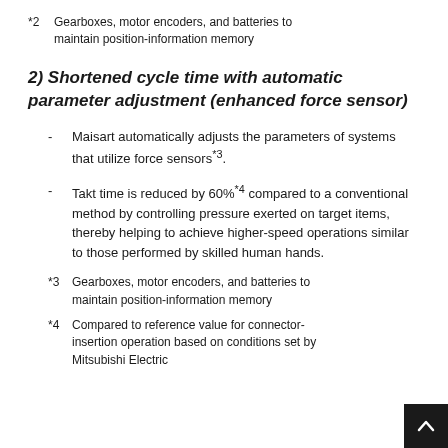*2  Gearboxes, motor encoders, and batteries to maintain position-information memory
2)  Shortened cycle time with automatic parameter adjustment (enhanced force sensor)
Maisart automatically adjusts the parameters of systems that utilize force sensors*3.
Takt time is reduced by 60%*4 compared to a conventional method by controlling pressure exerted on target items, thereby helping to achieve higher-speed operations similar to those performed by skilled human hands.
*3  Gearboxes, motor encoders, and batteries to maintain position-information memory
*4  Compared to reference value for connector-insertion operation based on conditions set by Mitsubishi Electric